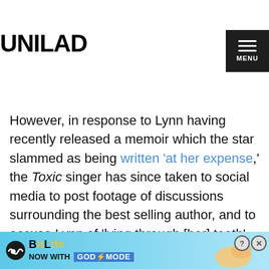UNILAD | MENU
she feels let her down, whether that be speaking out about her parents should be in jail, or describing her sister, Jamie Lynn, as a 'mean a**'.
However, in response to Lynn having recently released a memoir which the star slammed as being written 'at her expense,' the Toxic singer has since taken to social media to post footage of discussions surrounding the best selling author, and to accuse Lynn of 'lying through [her] teeth'.
ADVERT
[Figure (screenshot): Advertisement box: Search for | PICTURE OF BRITNEY SPEARS with arrow]
[Figure (screenshot): BitLife banner: NOW WITH GOD MODE]